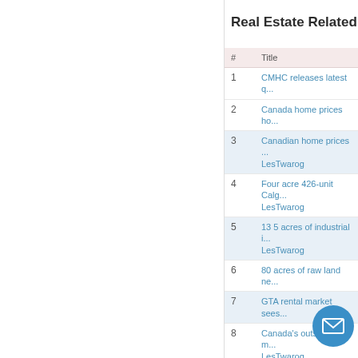Real Estate Related
| # | Title |
| --- | --- |
| 1 | CMHC releases latest q... |
| 2 | Canada home prices ho... |
| 3 | Canadian home prices ... LesTwarog |
| 4 | Four acre 426-unit Calg... LesTwarog |
| 5 | 13 5 acres of industrial i... LesTwarog |
| 6 | 80 acres of raw land ne... |
| 7 | GTA rental market sees... |
| 8 | Canada's outstanding m... LesTwarog |
| 9 | In-person contact fuels... LesTwarog |
| 10 | Pre-Construction In the... |
| 11 | Housing in Canada s Bi... Follow |
| 12 | TD reports... ial... |
| 13 | Millennials remain hope... |